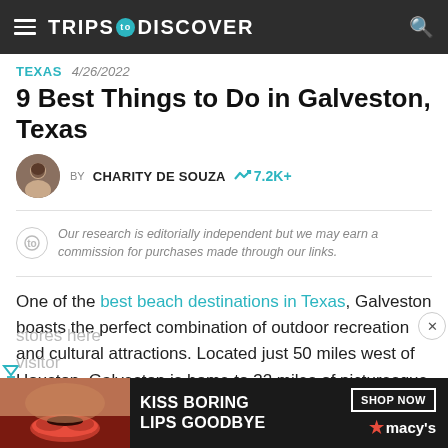TRIPS TO DISCOVER
TEXAS  4/26/2022
9 Best Things to Do in Galveston, Texas
BY CHARITY DE SOUZA  7.2K+
Our research is editorially independent but we may earn a commission for purchases made through our links.
One of the best beach destinations in Texas, Galveston boasts the perfect combination of outdoor recreation and cultural attractions. Located just 50 miles west of Houston, Galveston is home to 32 miles of picturesque coastline and a wealth of enticing restaurants, antique stores, ... where visitors
[Figure (screenshot): Macy's advertisement banner at bottom: 'KISS BORING LIPS GOODBYE' with SHOP NOW button and Macy's star logo]